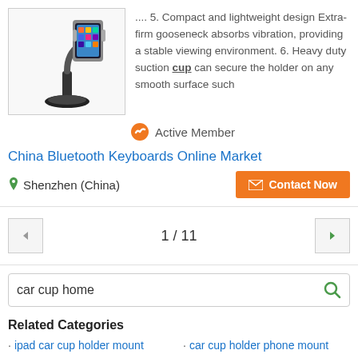[Figure (photo): Car phone holder mount with suction cup base and gooseneck arm holding a smartphone]
.... 5. Compact and lightweight design Extra-firm gooseneck absorbs vibration, providing a stable viewing environment. 6. Heavy duty suction cup can secure the holder on any smooth surface such
Active Member
China Bluetooth Keyboards Online Market
Shenzhen (China)
Contact Now
1 / 11
car cup home
Related Categories
ipad car cup holder mount
car cup holder phone mount